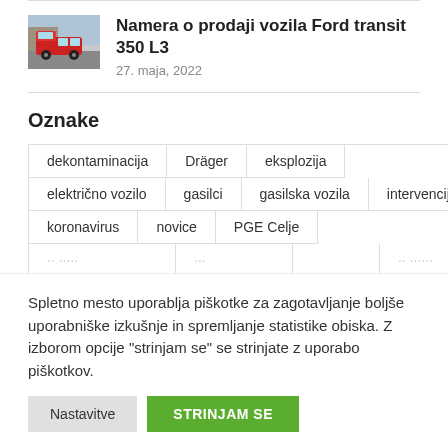[Figure (photo): Thumbnail photo of a red Ford Transit van]
Namera o prodaji vozila Ford transit 350 L3
27. maja, 2022
Oznake
dekontaminacija
Dräger
eksplozija
električno vozilo
gasilci
gasilska vozila
intervencije
koronavirus
novice
PGE Celje
Spletno mesto uporablja piškotke za zagotavljanje boljše uporabniške izkušnje in spremljanje statistike obiska. Z izborom opcije "strinjam se" se strinjate z uporabo piškotkov.
Nastavitve
STRINJAM SE